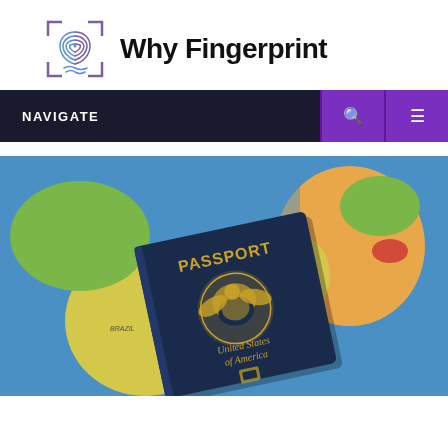[Figure (logo): Why Fingerprint logo: fingerprint icon in a blue/purple corner bracket frame, next to bold text 'Why Fingerprint']
[Figure (photo): A US Passport lying on a colorful world map. The passport is dark navy blue with gold 'PASSPORT' lettering and the US eagle emblem, reading 'United States of America' at the bottom.]